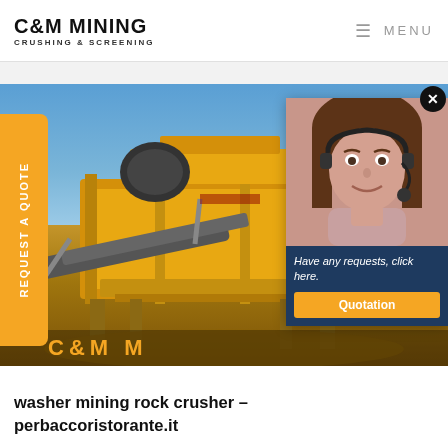C&M MINING CRUSHING & SCREENING | MENU
[Figure (photo): Mining rock crusher and screening machinery at an outdoor mining site with blue sky background, yellow machinery visible]
[Figure (photo): Customer service representative (woman with headset) chat popup overlay with 'Have any requests, click here.' message and Quotation button]
washer mining rock crusher - perbaccoristorante.it